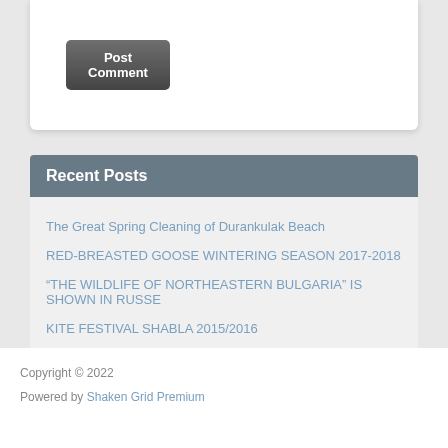[Figure (other): Post Comment button — a dark grey rounded button with white text]
Recent Posts
The Great Spring Cleaning of Durankulak Beach
RED-BREASTED GOOSE WINTERING SEASON 2017-2018
“THE WILDLIFE OF NORTHEASTERN BULGARIA” IS SHOWN IN RUSSE
KITE FESTIVAL SHABLA 2015/2016
OUR CURRENT ACTIONS
Copyright © 2022

Powered by Shaken Grid Premium